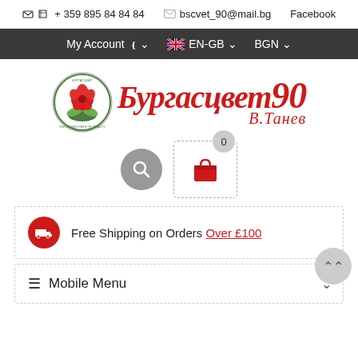+ 359 895 84 84 84  bscvet_90@mail.bg  Facebook
My Account  EN-GB  BGN
[Figure (logo): Burgasvet 90 brand logo with rose emblem and Cyrillic text Бургасцвет 90 В.Танев]
[Figure (infographic): Search button (grey circle with magnifier) and cart icon inside dashed box with 0 badge]
Free Shipping on Orders Over £100
Mobile Menu